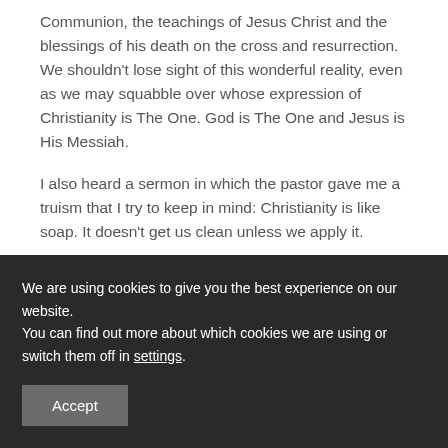Communion, the teachings of Jesus Christ and the blessings of his death on the cross and resurrection. We shouldn't lose sight of this wonderful reality, even as we may squabble over whose expression of Christianity is The One. God is The One and Jesus is His Messiah.
I also heard a sermon in which the pastor gave me a truism that I try to keep in mind: Christianity is like soap. It doesn't get us clean unless we apply it.
Have a blessed day! JB
★ Like
We are using cookies to give you the best experience on our website.
You can find out more about which cookies we are using or switch them off in settings.
Accept